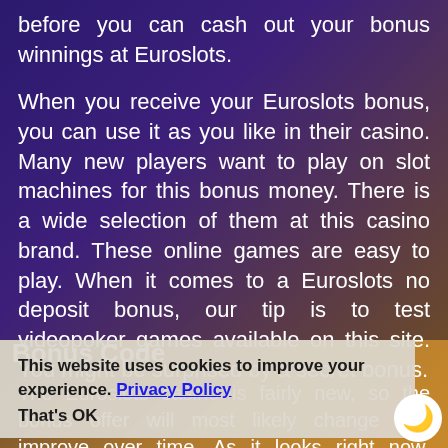before you can cash out your bonus winnings at Euroslots.
When you receive your Euroslots bonus, you can use it as you like in their casino. Many new players want to play on slot machines for this bonus money. There is a wide selection of them at this casino brand. These online games are easy to play. When it comes to a Euroslots no deposit bonus, our tip is to test videopoker games available on this site. You might be surprised by a secret bonus.
Bonus Code
This website uses cookies to improve your experience. Privacy Policy
That's OK
The Euroslots casino is fairly new, so the bonus offer will most likely change and improve over time. As it looks right now, EuroSlots is not requiring any bonus code. He with their generous welcome bonus and recurring